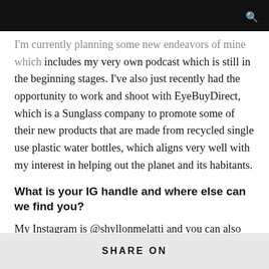I'm currently planning some new endeavors of mine which includes my very own podcast which is still in the beginning stages. I've also just recently had the opportunity to work and shoot with EyeBuyDirect, which is a Sunglass company to promote some of their new products that are made from recycled single use plastic water bottles, which aligns very well with my interest in helping out the planet and its habitants.
What is your IG handle and where else can we find you?
My Instagram is @shyllonmelatti and you can also see my cameo appearance on The Vivienne Takes On Hollywood on BBC3 and World of Wonder's streaming platform. My fingers are crossed that you'll also be seeing my back on stage with Chippendales soon! E
nd of Interview
SHARE ON